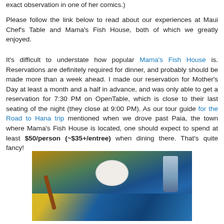exact observation in one of her comics.)
Please follow the link below to read about our experiences at Maui Chef's Table and Mama's Fish House, both of which we greatly enjoyed.
It's difficult to understate how popular Mama's Fish House is. Reservations are definitely required for dinner, and probably should be made more than a week ahead. I made our reservation for Mother's Day at least a month and a half in advance, and was only able to get a reservation for 7:30 PM on OpenTable, which is close to their last seating of the night (they close at 9:00 PM). As our tour guide for the Road to Hana trip mentioned when we drove past Paia, the town where Mama's Fish House is located, one should expect to spend at least $50/person (~$35+/entree) when dining there. That's quite fancy!
[Figure (photo): Photo of a restaurant table setting at Mama's Fish House, showing a white plate, a glass with ice, a wooden utensil, and a blue Hawaiian floral tablecloth.]